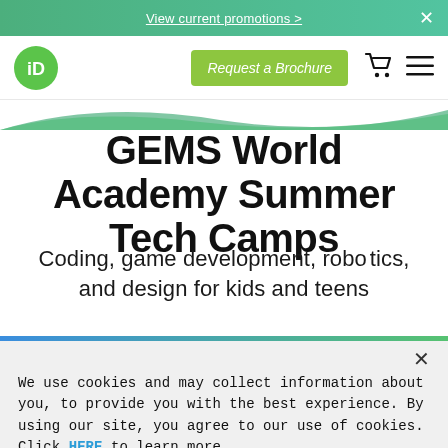View current promotions >
[Figure (logo): iD Tech circular green logo with 'iD' text]
Request a Brochure
GEMS World Academy Summer Tech Camps
Coding, game development, robotics, and design for kids and teens
We use cookies and may collect information about you, to provide you with the best experience. By using our site, you agree to our use of cookies. Click HERE to learn more.
Continue